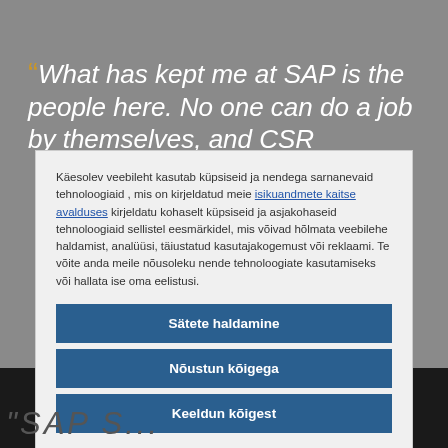"What has kept me at SAP is the people here. No one can do a job by themselves, and CSR
Käesolev veebileht kasutab küpsiseid ja nendega sarnanevaid tehnoloogiaid , mis on kirjeldatud meie isikuandmete kaitse avalduses kirjeldatu kohaselt küpsiseid ja asjakohaseid tehnoloogiaid sellistel eesmärkidel, mis võivad hõlmata veebilehe haldamist, analüüsi, täiustatud kasutajakogemust või reklaami. Te võite anda meile nõusoleku nende tehnoloogiate kasutamiseks või hallata ise oma eelistusi.
Sätete haldamine
Nõustun kõigega
Keeldun kõigest
Avaldus küpsiste kohta
"SAP S...